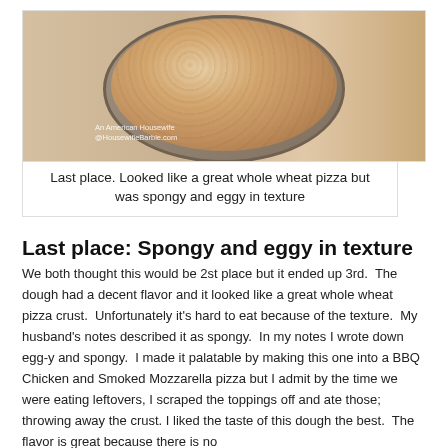[Figure (photo): A round whole wheat pizza crust in a metal pan, viewed from above, showing a golden-brown grainy texture. Watermark reads 'An American Housewife @HousewifieBarbie.com']
Last place. Looked like a great whole wheat pizza but was spongy and eggy in texture
Last place: Spongy and eggy in texture
We both thought this would be 2st place but it ended up 3rd.  The dough had a decent flavor and it looked like a great whole wheat pizza crust.  Unfortunately it's hard to eat because of the texture.  My husband's notes described it as spongy.  In my notes I wrote down egg-y and spongy.  I made it palatable by making this one into a BBQ Chicken and Smoked Mozzarella pizza but I admit by the time we were eating leftovers, I scraped the toppings off and ate those; throwing away the crust. I liked the taste of this dough the best.  The flavor is great because there is no